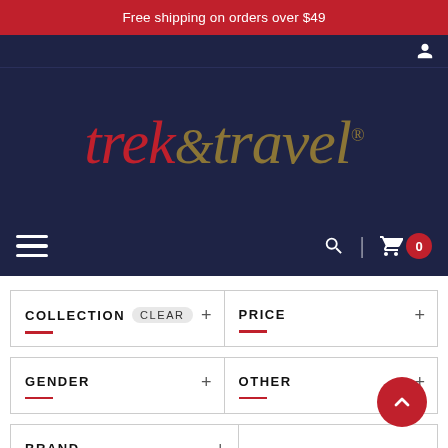Free shipping on orders over $49
[Figure (logo): Trek & Travel logo with red 'trek' and gold 'travel' italic serif text on dark navy background]
COLLECTION  clear  +
PRICE  +
GENDER  +
OTHER  +
BRAND  +